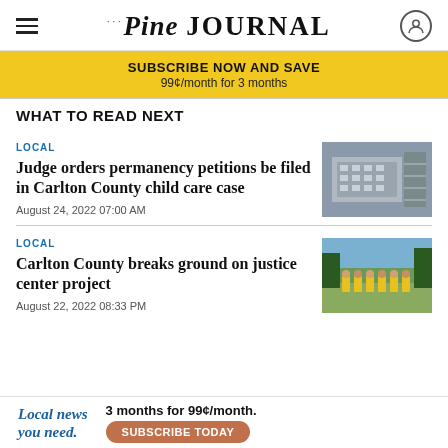Pine Journal
SUBSCRIBE NOW AND SAVE
99¢/month for 3 months
WHAT TO READ NEXT
LOCAL
Judge orders permanency petitions be filed in Carlton County child care case
August 24, 2022 07:00 AM
[Figure (photo): Aerial view of a large building with parking lot]
LOCAL
Carlton County breaks ground on justice center project
August 22, 2022 08:33 PM
[Figure (photo): Group of people in yellow vests standing in a field]
[Figure (infographic): Advertisement: Local news you need. 3 months for 99¢/month. SUBSCRIBE TODAY]